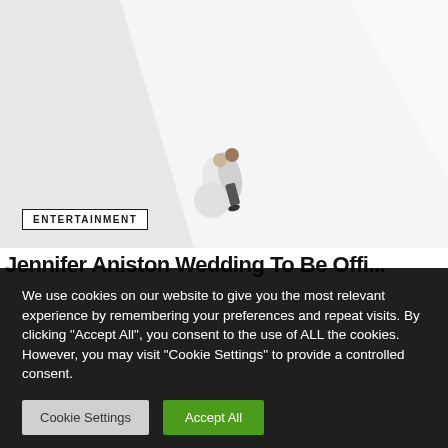[Figure (photo): Aerial/overhead view of a couple embracing, dressed in white wedding attire, standing on a large white diagonal surface against a light gray background.]
ENTERTAINMENT
We use cookies on our website to give you the most relevant experience by remembering your preferences and repeat visits. By clicking "Accept All", you consent to the use of ALL the cookies. However, you may visit "Cookie Settings" to provide a controlled consent.
Cookie Settings
Accept All